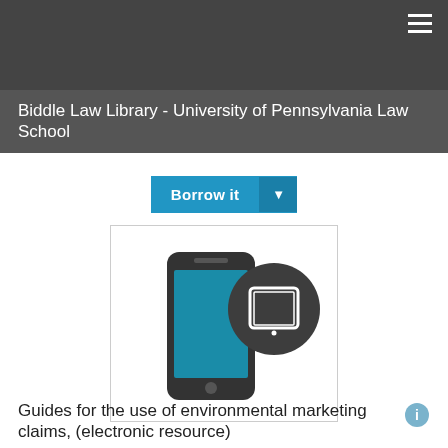Biddle Law Library - University of Pennsylvania Law School
Borrow it
[Figure (illustration): A smartphone icon with a tablet/iPad icon overlapping it, representing electronic/mobile resource access]
Guides for the use of environmental marketing claims, (electronic resource)